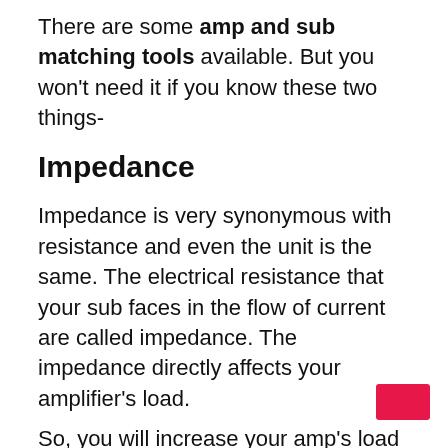There are some amp and sub matching tools available. But you won't need it if you know these two things-
Impedance
Impedance is very synonymous with resistance and even the unit is the same. The electrical resistance that your sub faces in the flow of current are called impedance. The impedance directly affects your amplifier's load.
So, you will increase your amp's load